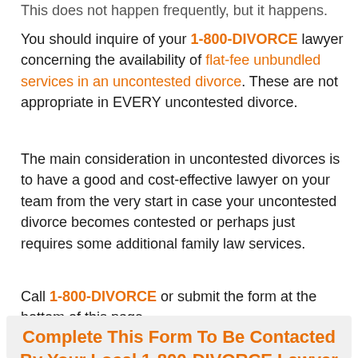This does not happen frequently, but it happens.
You should inquire of your 1-800-DIVORCE lawyer concerning the availability of flat-fee unbundled services in an uncontested divorce. These are not appropriate in EVERY uncontested divorce.
The main consideration in uncontested divorces is to have a good and cost-effective lawyer on your team from the very start in case your uncontested divorce becomes contested or perhaps just requires some additional family law services.
Call 1-800-DIVORCE or submit the form at the bottom of this page.
Complete This Form To Be Contacted By Your Local 1-800-DIVORCE Lawyer